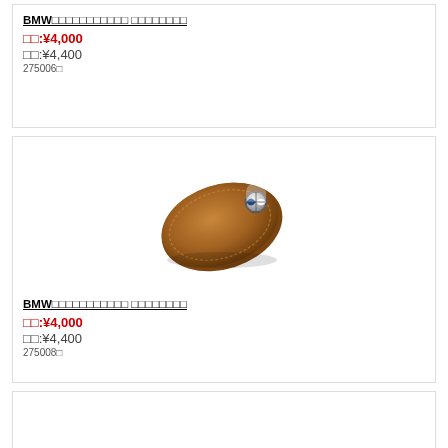BMW□□□□□□□□□□□ □□□□□□□□
□□:¥4,000
□□:¥4,400
275006□
[Figure (photo): Brown leather BMW key case/pouch with BMW logo badge, viewed from above at slight angle]
BMW□□□□□□□□□□□ □□□□□□□□
□□:¥4,000
□□:¥4,400
275008□
[Figure (photo): Red/burgundy leather BMW key case partially visible at bottom of page]